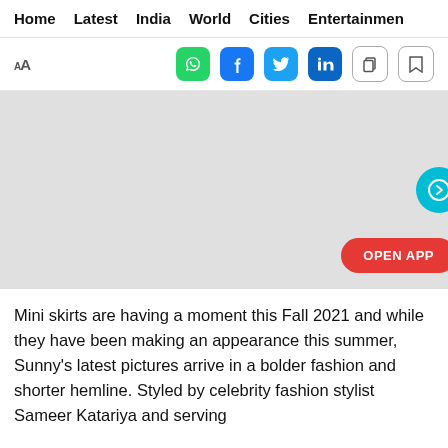Home | Latest | India | World | Cities | Entertainment
[Figure (screenshot): Toolbar with font size icons (AA), social share buttons (WhatsApp, Facebook, Twitter, LinkedIn), copy and bookmark icons]
[Figure (photo): Large light grey image placeholder with a teal circular next/arrow button on the right and a red OPEN APP button at the bottom right]
Mini skirts are having a moment this Fall 2021 and while they have been making an appearance this summer, Sunny's latest pictures arrive in a bolder fashion and shorter hemline. Styled by celebrity fashion stylist Sameer Katariya and serving